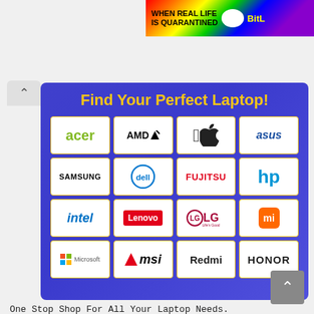[Figure (illustration): Ad banner top right: rainbow gradient background with text 'WHEN REAL LIFE IS QUARANTINED' and 'BitL' in yellow]
[Figure (infographic): Blue gradient card titled 'Find Your Perfect Laptop!' with a 4x4 grid of laptop brand logos: Acer, AMD, Apple, ASUS, Samsung, Dell, Fujitsu, HP, Intel, Lenovo, LG, Mi, Microsoft, MSI, Redmi, Honor]
One Stop Shop For All Your Laptop Needs.